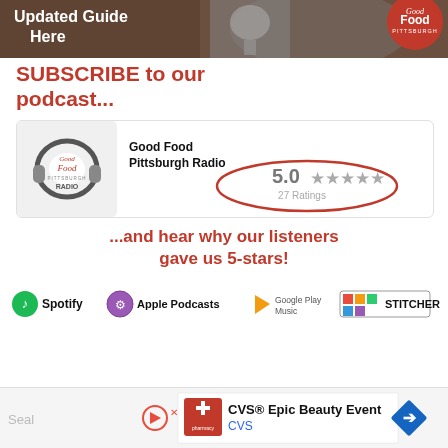[Figure (photo): Banner image with text 'Updated Guide Here' and Good Food Pittsburgh logo badge on right, dark background with microphone]
SUBSCRIBE to our podcast...
[Figure (other): Podcast app card showing Good Food Pittsburgh Radio logo with headphones, rating of 5.0 stars with 27 Ratings circled in red oval]
...and hear why our listeners gave us 5-stars!
[Figure (logo): Platform logos: Spotify, Apple Podcasts, Google Play Music, Stitcher]
[Figure (other): Advertisement bar: CVS Epic Beauty Event advertisement with CVS pharmacy logo and navigation arrow]